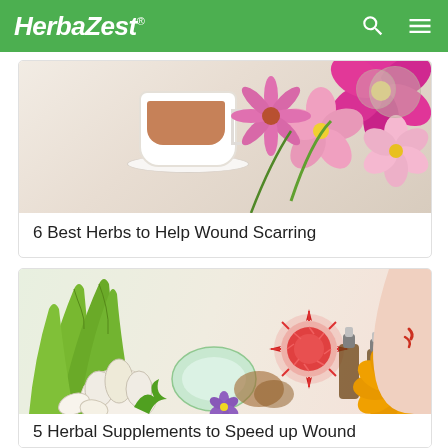HerbаZest®
[Figure (photo): Herbal tea in white cup with pink and magenta flowers on a light background]
6 Best Herbs to Help Wound Scarring
[Figure (photo): Aloe vera, garlic, essential oil bottles, red spiky flower, yellow marigold, and a scraped knee wound on white background]
5 Herbal Supplements to Speed up Wound